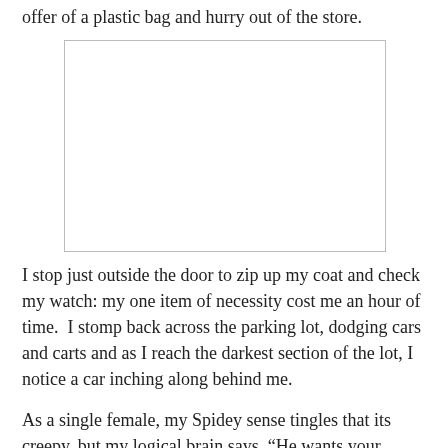offer of a plastic bag and hurry out of the store.
[Figure (photo): Blank white image placeholder]
I stop just outside the door to zip up my coat and check my watch: my one item of necessity cost me an hour of time.  I stomp back across the parking lot, dodging cars and carts and as I reach the darkest section of the lot, I notice a car inching along behind me.
As a single female, my Spidey sense tingles that its creepy, but my logical brain says, “He wants your space, so he’s following you.”
Now that I have my purchase and I’ve wasted an hour anyway, I decide to have a little fun.  I turn around,